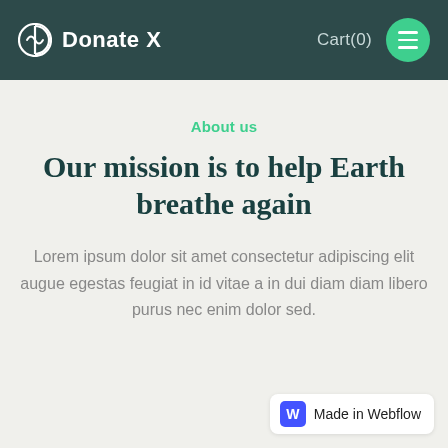Donate X  Cart(0)
About us
Our mission is to help Earth breathe again
Lorem ipsum dolor sit amet consectetur adipiscing elit augue egestas feugiat in id vitae a in dui diam diam libero purus nec enim dolor sed.
Made in Webflow